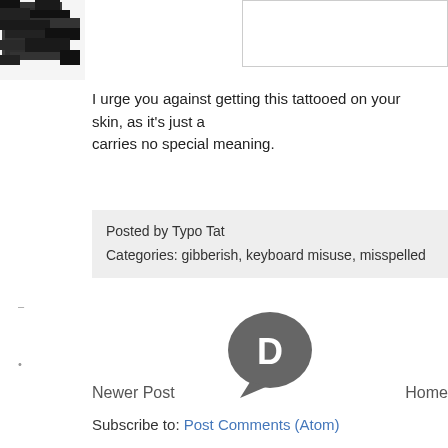[Figure (other): Partial top-right bordered box, partially visible at top of page]
I urge you against getting this tattooed on your skin, as it's just a carries no special meaning.
Posted by Typo Tat
Categories: gibberish, keyboard misuse, misspelled
[Figure (logo): Disqus logo - dark grey speech bubble with letter D]
Newer Post    Home
Subscribe to: Post Comments (Atom)